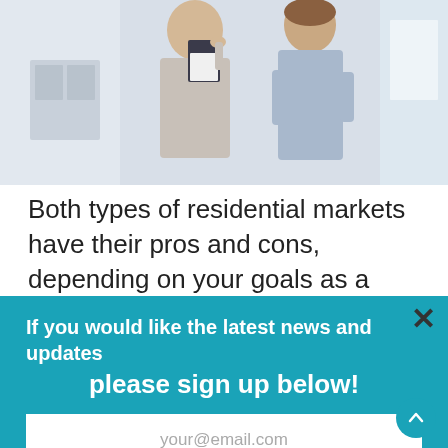[Figure (photo): Photo of two people, one appearing to be a real estate agent holding a clipboard, the other a client, in a light interior setting]
Both types of residential markets have their pros and cons, depending on your goals as a landlord.
If you would like the latest news and updates please sign up below!
variety in te... about five
your@email.com
Signup Today
according to the website BiggerPockets. Finally, they are cheaper to buy on average